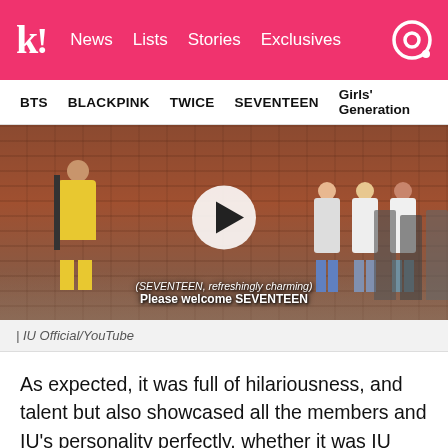k! News Lists Stories Exclusives
BTS BLACKPINK TWICE SEVENTEEN Girls' Generation
[Figure (screenshot): Video thumbnail showing a woman in yellow seated facing a group of people, in a studio with brick walls. Subtitle reads: (SEVENTEEN, refreshingly charming) Please welcome SEVENTEEN. A play button overlay is visible.]
| IU Official/YouTube
As expected, it was full of hilariousness, and talent but also showcased all the members and IU's personality perfectly, whether it was IU revealing her reaction to being neighbors at a recent award show or IU apologizing to DK.